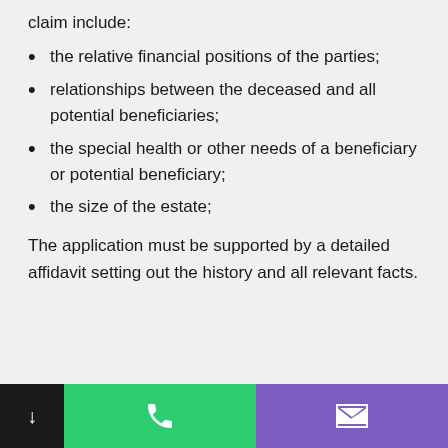claim include:
the relative financial positions of the parties;
relationships between the deceased and all potential beneficiaries;
the special health or other needs of a beneficiary or potential beneficiary;
the size of the estate;
The application must be supported by a detailed affidavit setting out the history and all relevant facts.
Navigation bar with phone and email icons